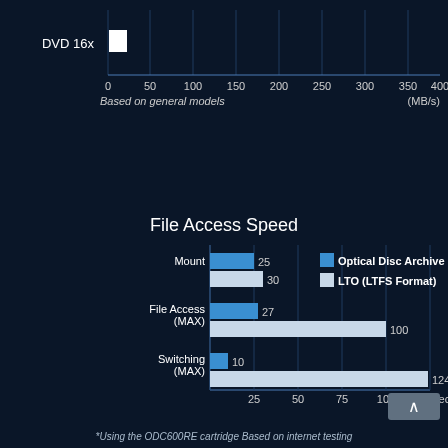[Figure (bar-chart): ]
Based on general models (MB/s)
File Access Speed
[Figure (grouped-bar-chart): File Access Speed]
*Using the ODC600RE cartridge Based on internet testing